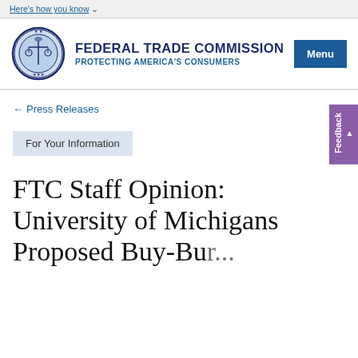Here's how you know
[Figure (logo): Federal Trade Commission official seal/logo — circular blue emblem with scales of justice]
FEDERAL TRADE COMMISSION
PROTECTING AMERICA'S CONSUMERS
← Press Releases
For Your Information
FTC Staff Opinion: University of Michigans Proposed Buy-Buy...